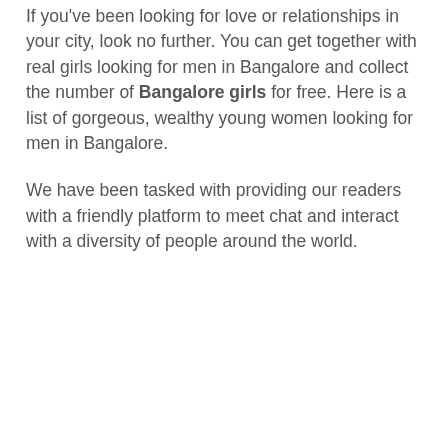If you've been looking for love or relationships in your city, look no further. You can get together with real girls looking for men in Bangalore and collect the number of Bangalore girls for free. Here is a list of gorgeous, wealthy young women looking for men in Bangalore.
We have been tasked with providing our readers with a friendly platform to meet chat and interact with a diversity of people around the world.